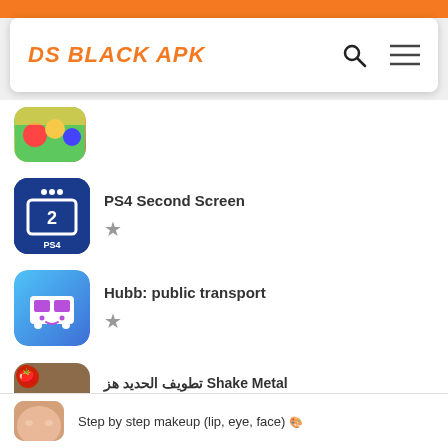DS BLACK APK
[Figure (screenshot): Partially visible colorful app icon at top]
PS4 Second Screen
Hubb: public transport
تطويف الحديد هز Shake Metal - version 1.4.2, rating 7.3
Step by step makeup (lip, eye, face)